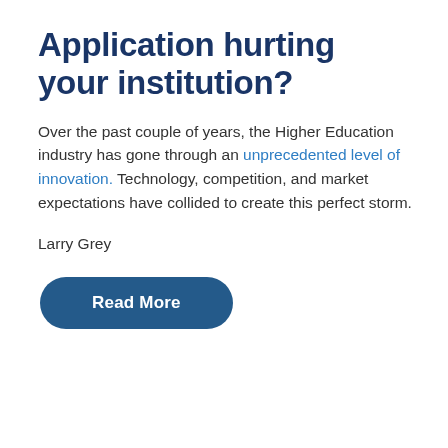Application hurting your institution?
Over the past couple of years, the Higher Education industry has gone through an unprecedented level of innovation. Technology, competition, and market expectations have collided to create this perfect storm.
Larry Grey
Read More